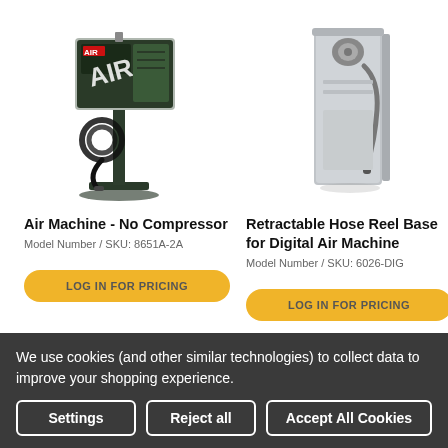[Figure (photo): Air Machine - No Compressor product photo: a floor-standing air dispenser on a dark metal pole with a coiled hose and dispenser head, mounted on a square base plate. The unit has a green/black housing with AIR branding.]
Air Machine - No Compressor
Model Number / SKU: 8651A-2A
[Figure (photo): Retractable Hose Reel Base for Digital Air Machine product photo: a tall slim silver/grey rectangular cabinet with a hose reel mechanism visible at the top and a retractable hose along its side.]
Retractable Hose Reel Base for Digital Air Machine
Model Number / SKU: 6026-DIG
We use cookies (and other similar technologies) to collect data to improve your shopping experience.
Settings
Reject all
Accept All Cookies